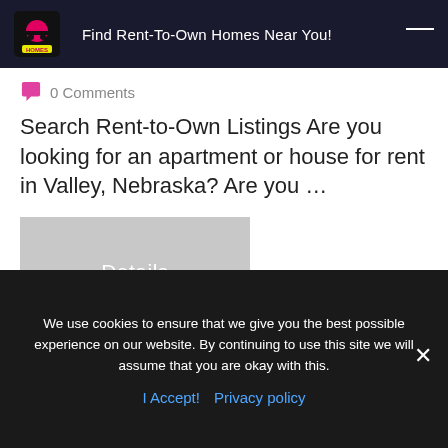My Ladybug Homes — Find Rent-To-Own Homes Near You!
0 Comments
Search Rent-to-Own Listings Are you looking for an apartment or house for rent in Valley, Nebraska? Are you …
[Figure (screenshot): Grey Details button/thumbnail image]
Susan
May 13 2018
Local Rent to Own Homes in
We use cookies to ensure that we give you the best possible experience on our website. By continuing to use this site we will assume that you are okay with this.
I Accept!  Privacy policy